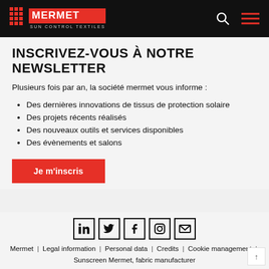MERMET SUN CONTROL TEXTILES
INSCRIVEZ-VOUS À NOTRE NEWSLETTER
Plusieurs fois par an, la société mermet vous informe :
Des dernières innovations de tissus de protection solaire
Des projets récents réalisés
Des nouveaux outils et services disponibles
Des évènements et salons
Je m'inscris
[Figure (infographic): Social media icons: LinkedIn, Twitter, Facebook, Instagram, Email]
Mermet | Legal information | Personal data | Credits | Cookie management | Sunscreen Mermet, fabric manufacturer